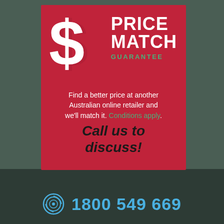[Figure (infographic): Price Match Guarantee promotional banner. Red background with a large white dollar sign, text 'PRICE MATCH GUARANTEE', tagline 'Find a better price at another Australian online retailer and we'll match it. Conditions apply.', and call to action 'Call us to discuss!']
1800 549 669